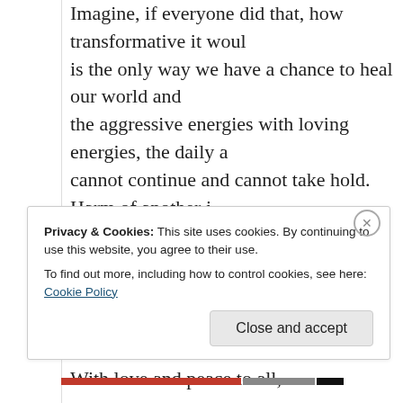Imagine, if everyone did that, how transformative it would be is the only way we have a chance to heal our world and the aggressive energies with loving energies, the daily a cannot continue and cannot take hold. Harm of another i fathomable.
Are you willing to make a change to foster the oneness a as well? I'd love to hear about it 🙂
With love and peace to all,
Marianne
Privacy & Cookies: This site uses cookies. By continuing to use this website, you agree to their use. To find out more, including how to control cookies, see here: Cookie Policy